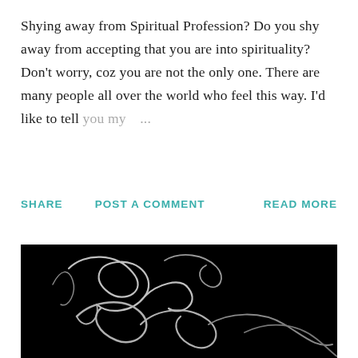Shying away from Spiritual Profession? Do you shy away from accepting that you are into spirituality? Don't worry, coz you are not the only one. There are many people all over the world who feel this way. I'd like to tell you my ...
SHARE   POST A COMMENT   READ MORE
[Figure (photo): Dark black background with light grey cursive/calligraphic script writing, resembling looping handwritten letters or signature strokes in white/grey on black.]